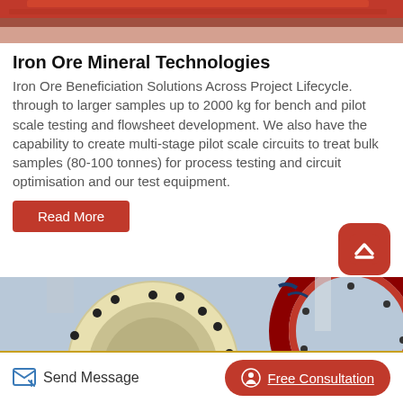[Figure (photo): Top portion of industrial mineral processing equipment, red/orange colored machine parts]
Iron Ore Mineral Technologies
Iron Ore Beneficiation Solutions Across Project Lifecycle. through to larger samples up to 2000 kg for bench and pilot scale testing and flowsheet development. We also have the capability to create multi-stage pilot scale circuits to treat bulk samples (80-100 tonnes) for process testing and circuit optimisation and our test equipment.
[Figure (other): Red rounded square button with upward arrow/caret icon for scrolling to top]
Read More
[Figure (photo): Close-up of large industrial gear/ring gear components, cream/yellow colored large gear wheel with black bolts and red gear ring]
Send Message
Free Consultation